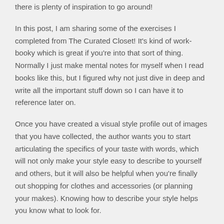there is plenty of inspiration to go around!
In this post, I am sharing some of the exercises I completed from The Curated Closet! It's kind of work-booky which is great if you're into that sort of thing. Normally I just make mental notes for myself when I read books like this, but I figured why not just dive in deep and write all the important stuff down so I can have it to reference later on.
Once you have created a visual style profile out of images that you have collected, the author wants you to start articulating the specifics of your taste with words, which will not only make your style easy to describe to yourself and others, but it will also be helpful when you're finally out shopping for clothes and accessories (or planning your makes). Knowing how to describe your style helps you know what to look for.
Here are some of the trends I noticed on my pinterest style inspo board:
clean lines
clashing patterns
simple silhouettes